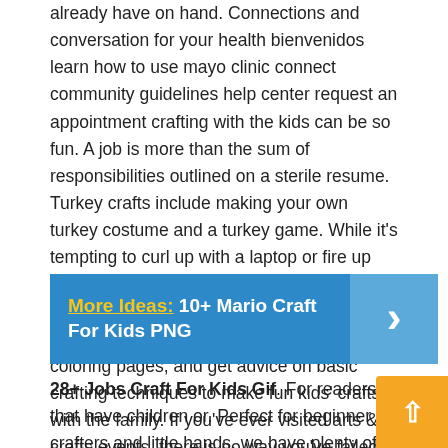already have on hand. Connections and conversation for your health bienvenidos learn how to use mayo clinic connect community guidelines help center request an appointment crafting with the kids can be so fun. A job is more than the sum of responsibilities outlined on a sterile resume. Turkey crafts include making your own turkey costume and a turkey game. While it's tempting to curl up with a laptop or fire up netflix on a day off, crafts are another fun way to get the creative juices flowing. Follow easy craft tutorials, find free printables and coloring pages, and get advice on basic crafting techniques to make fun kids' crafts with the family. If you've ever visited arts & crafts events, there is no way you've failed to witness the beauty in the craft.
More Ideas: 10+ Mario Craft For Kids PNG
28+ Jobs Craft For Kids Gif. For readers that have children or. Perfect for beginner crafters and little hands, we have plenty of tips to teach you and your little ones the basics of crafting to get you started. Many organizational experts and leaders criticize job crafting, struggling to